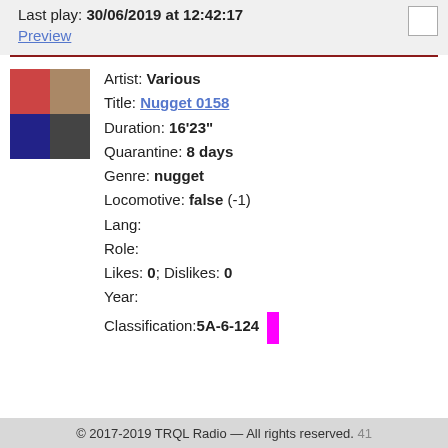Last play: 30/06/2019 at 12:42:17
Preview
Artist: Various
Title: Nugget 0158
Duration: 16'23"
Quarantine: 8 days
Genre: nugget
Locomotive: false (-1)
Lang:
Role:
Likes: 0; Dislikes: 0
Year:
Classification: 5A-6-124
© 2017-2019 TRQL Radio — All rights reserved. 41